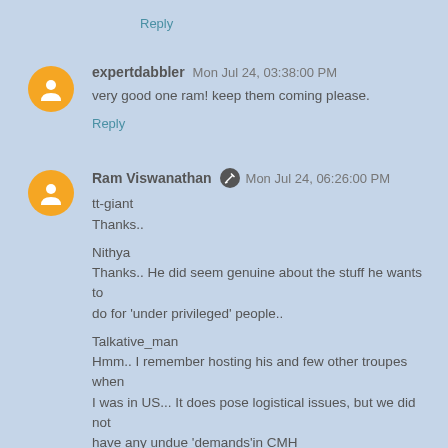Reply
expertdabbler  Mon Jul 24, 03:38:00 PM
very good one ram! keep them coming please.
Reply
Ram Viswanathan  Mon Jul 24, 06:26:00 PM
tt-giant
Thanks..

Nithya
Thanks.. He did seem genuine about the stuff he wants to do for 'under privileged' people..

Talkative_man
Hmm.. I remember hosting his and few other troupes when I was in US... It does pose logistical issues, but we did not have any undue 'demands'in CMH